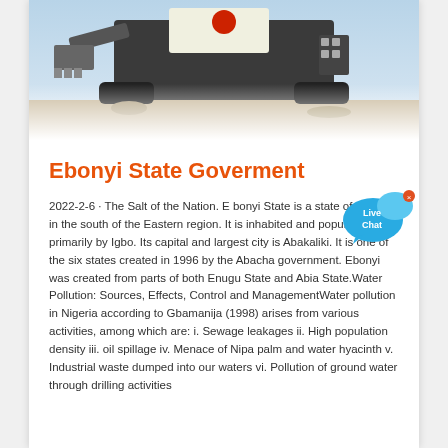[Figure (photo): Mining or construction machinery (crusher/excavator) photographed outdoors with blue sky, shown from a low angle. The bottom of the image fades to white.]
Ebonyi State Goverment
[Figure (illustration): Live Chat button: speech bubble icon in blue with text 'Live Chat' and a small × close button in the upper-right corner.]
2022-2-6 · The Salt of the Nation. E bonyi State is a state of Nigeria, in the south of the Eastern region. It is inhabited and populated primarily by Igbo. Its capital and largest city is Abakaliki. It is one of the six states created in 1996 by the Abacha government. Ebonyi was created from parts of both Enugu State and Abia State.Water Pollution: Sources, Effects, Control and ManagementWater pollution in Nigeria according to Gbamanija (1998) arises from various activities, among which are: i. Sewage leakages ii. High population density iii. oil spillage iv. Menace of Nipa palm and water hyacinth v. Industrial waste dumped into our waters vi. Pollution of ground water through drilling activities